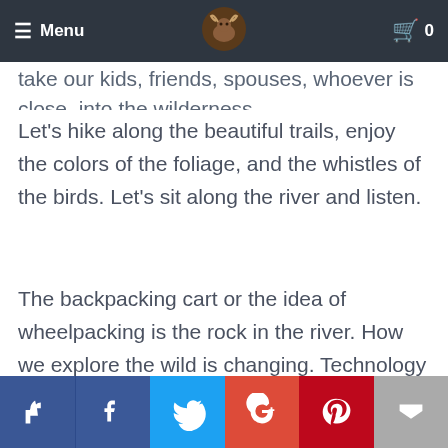Menu | [logo] | 0
take our kids, friends, spouses, whoever is close, into the wilderness
Let's hike along the beautiful trails, enjoy the colors of the foliage, and the whistles of the birds. Let's sit along the river and listen.
The backpacking cart or the idea of wheelpacking is the rock in the river. How we explore the wild is changing. Technology is changing and our paradigms are shifting. Our experiences are shaping how we view hiking. Our legislation is keeping us from fully enjoying our wilderness
[Like] [Facebook] [Twitter] [Google+] [Pinterest] [Mail]